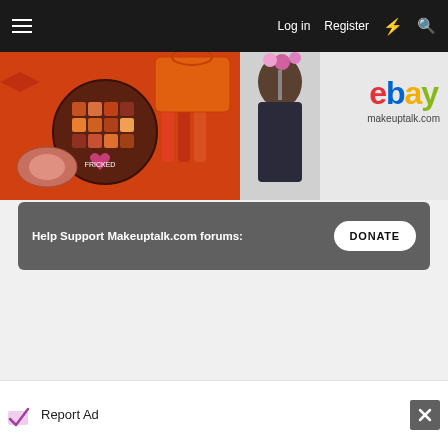Log in   Register
[Figure (screenshot): Banner advertisement showing makeup palette on left (orange/red cosmetics) and eBay logo on right with text 'makeuptalk.com']
Help Support Makeuptalk.com forums:   DONATE
Report Ad